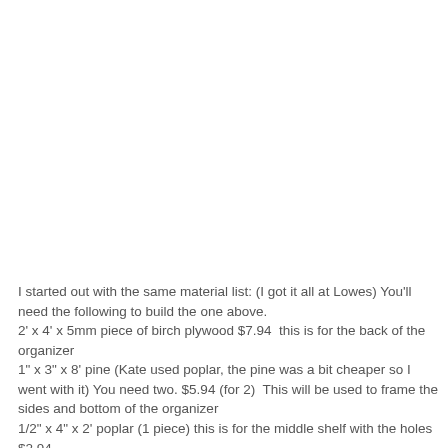I started out with the same material list: (I got it all at Lowes) You'll need the following to build the one above. 2' x 4' x 5mm piece of birch plywood $7.94  this is for the back of the organizer 1" x 3" x 8' pine (Kate used poplar, the pine was a bit cheaper so I went with it) You need two. $5.94 (for 2)  This will be used to frame the sides and bottom of the organizer 1/2" x 4" x 2' poplar (1 piece) this is for the middle shelf with the holes $2.94